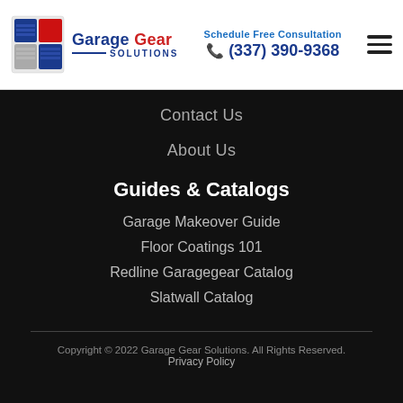[Figure (logo): Garage Gear Solutions logo with stylized garage door icon in red and blue, brand name in bold blue text with red 'Gear', and 'SOLUTIONS' in smaller letters]
Schedule Free Consultation
☎ (337) 390-9368
Contact Us
About Us
Guides & Catalogs
Garage Makeover Guide
Floor Coatings 101
Redline Garagegear Catalog
Slatwall Catalog
Copyright © 2022 Garage Gear Solutions. All Rights Reserved.
Privacy Policy